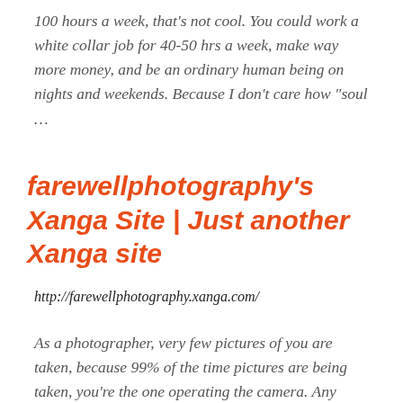100 hours a week, that’s not cool. You could work a white collar job for 40-50 hrs a week, make way more money, and be an ordinary human being on nights and weekends. Because I don’t care how “soul …
farewellphotography’s Xanga Site | Just another Xanga site
http://farewellphotography.xanga.com/
As a photographer, very few pictures of you are taken, because 99% of the time pictures are being taken, you’re the one operating the camera. Any